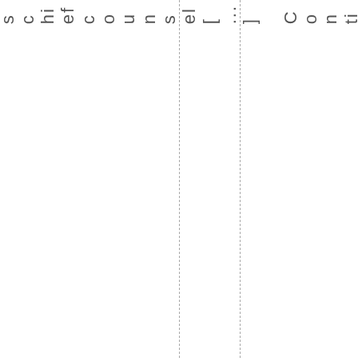d. As chief counsel [...] Continuere